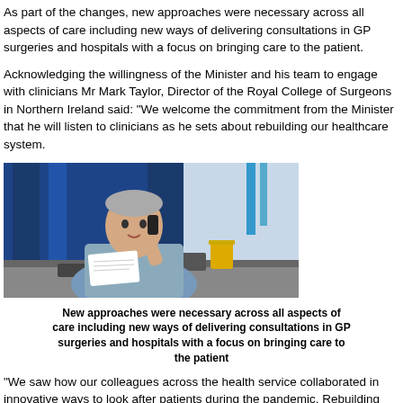As part of the changes, new approaches were necessary across all aspects of care including new ways of delivering consultations in GP surgeries and hospitals with a focus on bringing care to the patient.
Acknowledging the willingness of the Minister and his team to engage with clinicians Mr Mark Taylor, Director of the Royal College of Surgeons in Northern Ireland said: "We welcome the commitment from the Minister that he will listen to clinicians as he sets about rebuilding our healthcare system.
[Figure (photo): A male doctor or healthcare professional in a blue shirt, seated at a desk in a clinical setting with blue curtains in the background, talking on a phone and looking at documents.]
New approaches were necessary across all aspects of care including new ways of delivering consultations in GP surgeries and hospitals with a focus on bringing care to the patient
“We saw how our colleagues across the health service collaborated in innovative ways to look after patients during the pandemic. Rebuilding our services in a safe and timely way is a pressing need and clinicians must